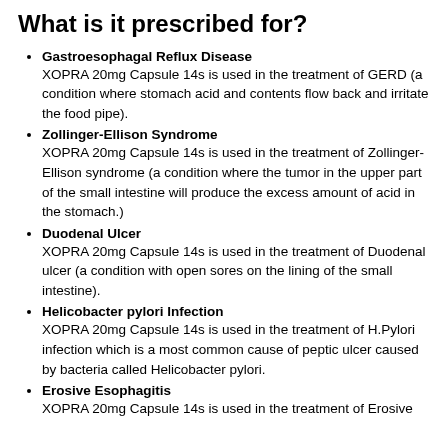What is it prescribed for?
Gastroesophagal Reflux Disease
XOPRA 20mg Capsule 14s is used in the treatment of GERD (a condition where stomach acid and contents flow back and irritate the food pipe).
Zollinger-Ellison Syndrome
XOPRA 20mg Capsule 14s is used in the treatment of Zollinger-Ellison syndrome (a condition where the tumor in the upper part of the small intestine will produce the excess amount of acid in the stomach.)
Duodenal Ulcer
XOPRA 20mg Capsule 14s is used in the treatment of Duodenal ulcer (a condition with open sores on the lining of the small intestine).
Helicobacter pylori Infection
XOPRA 20mg Capsule 14s is used in the treatment of H.Pylori infection which is a most common cause of peptic ulcer caused by bacteria called Helicobacter pylori.
Erosive Esophagitis
XOPRA 20mg Capsule 14s is used in the treatment of Erosive